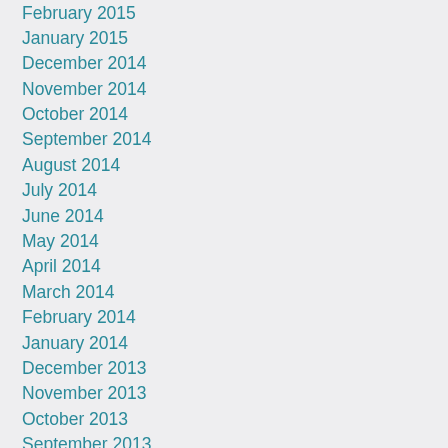February 2015
January 2015
December 2014
November 2014
October 2014
September 2014
August 2014
July 2014
June 2014
May 2014
April 2014
March 2014
February 2014
January 2014
December 2013
November 2013
October 2013
September 2013
August 2013
July 2013
June 2013
May 2013